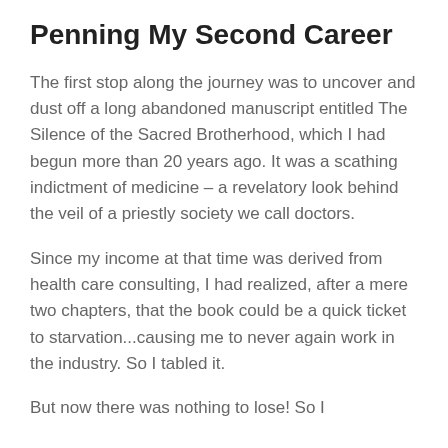Penning My Second Career
The first stop along the journey was to uncover and dust off a long abandoned manuscript entitled The Silence of the Sacred Brotherhood, which I had begun more than 20 years ago. It was a scathing indictment of medicine – a revelatory look behind the veil of a priestly society we call doctors.
Since my income at that time was derived from health care consulting, I had realized, after a mere two chapters, that the book could be a quick ticket to starvation...causing me to never again work in the industry. So I tabled it.
But now there was nothing to lose! So I